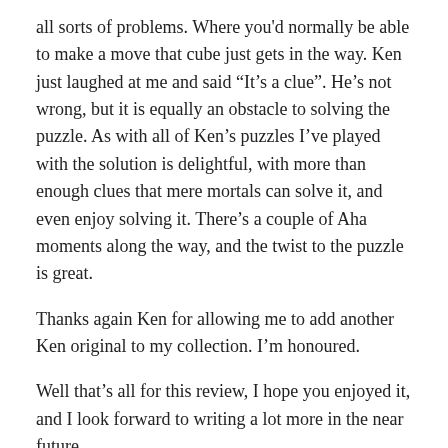all sorts of problems. Where you'd normally be able to make a move that cube just gets in the way. Ken just laughed at me and said “It’s a clue”. He’s not wrong, but it is equally an obstacle to solving the puzzle. As with all of Ken’s puzzles I’ve played with the solution is delightful, with more than enough clues that mere mortals can solve it, and even enjoy solving it. There’s a couple of Aha moments along the way, and the twist to the puzzle is great.
Thanks again Ken for allowing me to add another Ken original to my collection. I’m honoured.
Well that’s all for this review, I hope you enjoyed it, and I look forward to writing a lot more in the near future.
This entry was posted in Puzzle Reviews, Videos and tagged Cube, Interlocking, IPP, Tom Lensch, Video Review, Wood on August 31, 2016.